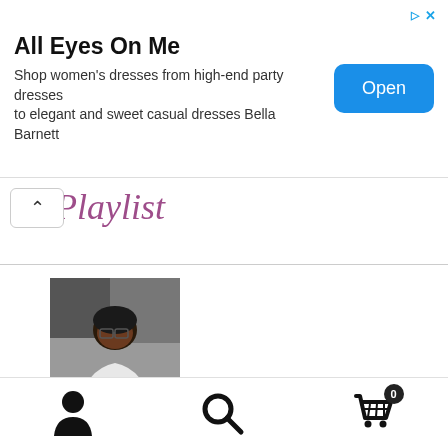[Figure (screenshot): Advertisement banner for 'All Eyes On Me' women's dresses with Open button]
Playlist
[Figure (photo): Profile photo of David Raleche, a man wearing glasses and a white shirt]
Written by
David Raleche
Posted in
Africa Gratif...